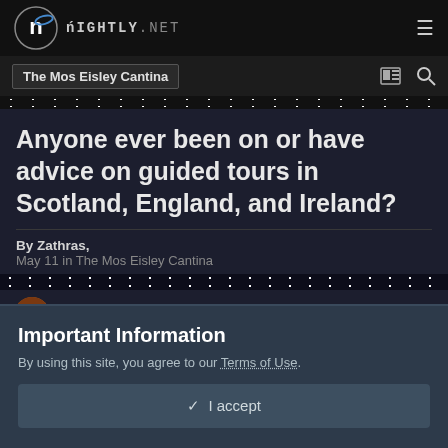nightly.NET
The Mos Eisley Cantina
Anyone ever been on or have advice on guided tours in Scotland, England, and Ireland?
By Zathras,
May 11 in The Mos Eisley Cantina
Zathras
Important Information
By using this site, you agree to our Terms of Use.
✓  I accept